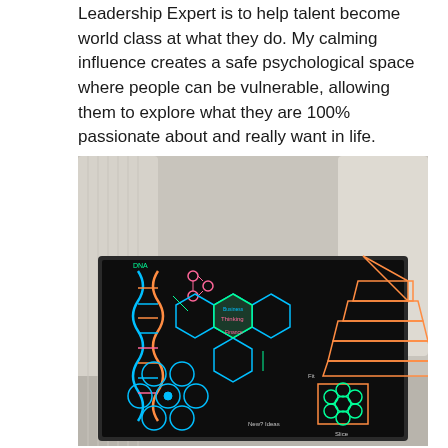Leadership Expert is to help talent become world class at what they do. My calming influence creates a safe psychological space where people can be vulnerable, allowing them to explore what they are 100% passionate about and really want in life.
[Figure (photo): A framed black chalkboard-style tablet resting on a white cushioned sofa, displaying colorful neon chalk drawings including a DNA double helix, molecular structures, hexagonal network diagrams, a pyramid/hierarchy diagram, circular chain structures, and other scientific/educational illustrations.]